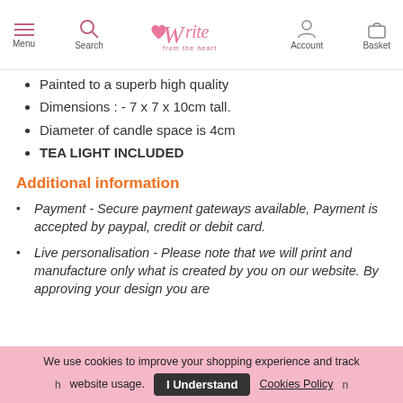Menu | Search | Write from the Heart | Account | Basket
Painted to a superb high quality
Dimensions : - 7 x 7 x 10cm tall.
Diameter of candle space is 4cm
TEA LIGHT INCLUDED
Additional information
Payment - Secure payment gateways available, Payment is accepted by paypal, credit or debit card.
Live personalisation - Please note that we will print and manufacture only what is created by you on our website. By approving your design you are
We use cookies to improve your shopping experience and track website usage.